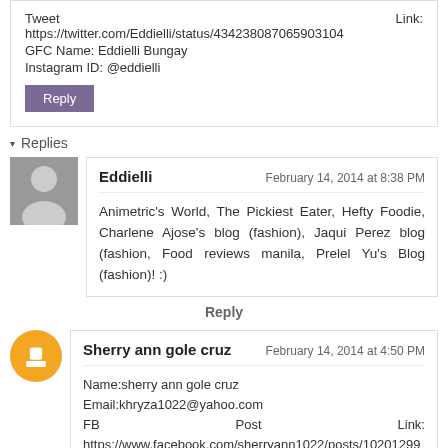Tweet   Link:
https://twitter.com/Eddielli/status/434238087065903104
GFC Name: Eddielli Bungay
Instagram ID: @eddielli
Reply
▾ Replies
Eddielli   February 14, 2014 at 8:38 PM
Animetric's World, The Pickiest Eater, Hefty Foodie, Charlene Ajose's blog (fashion), Jaqui Perez blog (fashion, Food reviews manila, Prelel Yu's Blog (fashion)! :)
Reply
Sherry ann gole cruz   February 14, 2014 at 4:50 PM
Name:sherry ann gole cruz
Email:khryza1022@yahoo.com
FB   Post   Link:
https://www.facebook.com/sherryann1022/posts/10201299